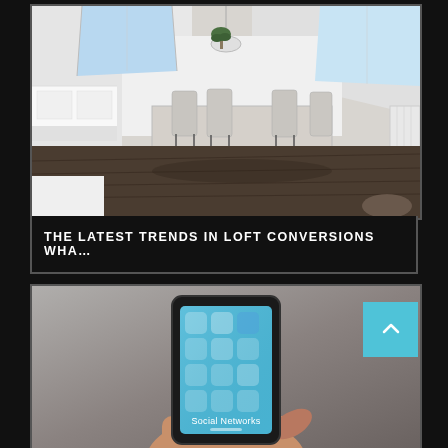[Figure (photo): Photo of a modern loft conversion interior with white walls, skylights, dining table with chairs, and dark hardwood floor]
THE LATEST TRENDS IN LOFT CONVERSIONS WHA…
[Figure (photo): Photo of a hand holding a smartphone showing a Social Networks screen with app icons on a light blue iOS-style interface]